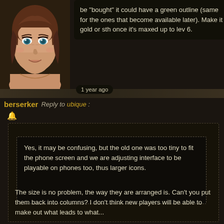be "bought" it could have a green outline (same for the ones that become available later). Make it gold or sth once it's maxed up to lev 6.
[Figure (illustration): Anime-style female character avatar with brown hair and teal eyes, portrait style with bare shoulders]
1 year ago
berserker   Reply to ubique :
Yes, it may be confusing, but the old one was too tiny to fit the phone screen and we are adjusting interface to be playable on phones too, thus larger icons.
The size is no problem, the way they are arranged is. Can't you put them back into columns? I don't think new players will be able to make out what leads to what...